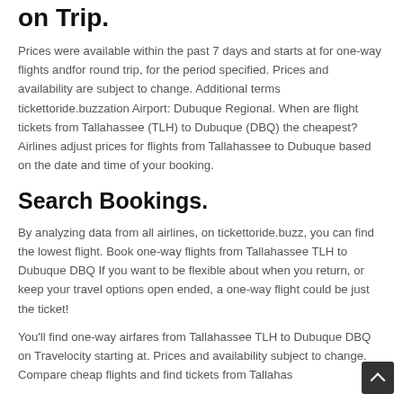on Trip.
Prices were available within the past 7 days and starts at for one-way flights andfor round trip, for the period specified. Prices and availability are subject to change. Additional terms tickettoride.buzzation Airport: Dubuque Regional. When are flight tickets from Tallahassee (TLH) to Dubuque (DBQ) the cheapest? Airlines adjust prices for flights from Tallahassee to Dubuque based on the date and time of your booking.
Search Bookings.
By analyzing data from all airlines, on tickettoride.buzz, you can find the lowest flight. Book one-way flights from Tallahassee TLH to Dubuque DBQ If you want to be flexible about when you return, or keep your travel options open ended, a one-way flight could be just the ticket!
You'll find one-way airfares from Tallahassee TLH to Dubuque DBQ on Travelocity starting at. Prices and availability subject to change. Compare cheap flights and find tickets from Tallahas...